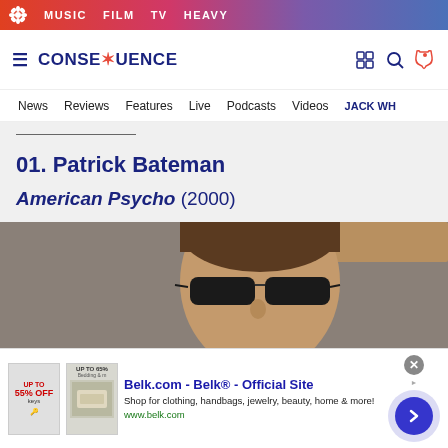MUSIC  FILM  TV  HEAVY
CONSEQUENCE
News  Reviews  Features  Live  Podcasts  Videos  JACK WH...
01. Patrick Bateman
American Psycho (2000)
[Figure (photo): Close-up photo of a man (Patrick Bateman / Christian Bale) wearing dark sunglasses, hair slicked back, in what appears to be a still from American Psycho (2000).]
[Figure (screenshot): Advertisement banner for Belk.com - Belk® - Official Site. Shop for clothing, handbags, jewelry, beauty, home & more! www.belk.com]